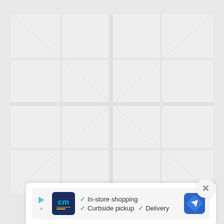[Figure (map): Light grey map area showing a street/location map with muted colors]
[Figure (screenshot): Ad banner overlay with CM (Couche-Tard/Circle M) store logo showing: In-store shopping, Curbside pickup, Delivery features with checkmarks and a navigation/directions icon]